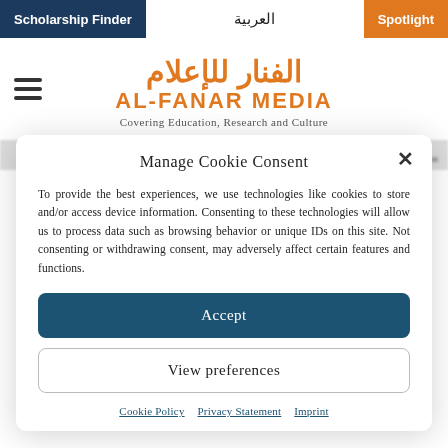Scholarship Finder | العربية | Spotlight
الفنار للإعلام
AL-FANAR MEDIA
Covering Education, Research and Culture
[Figure (screenshot): Blurred Arabic headline text in background behind cookie consent modal]
Manage Cookie Consent
To provide the best experiences, we use technologies like cookies to store and/or access device information. Consenting to these technologies will allow us to process data such as browsing behavior or unique IDs on this site. Not consenting or withdrawing consent, may adversely affect certain features and functions.
Accept
View preferences
Cookie Policy   Privacy Statement   Imprint